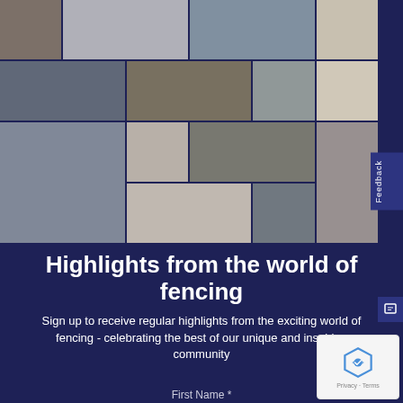[Figure (photo): Collage of fencing photos showing athletes in competitions, training, and community settings arranged in a grid pattern]
Highlights from the world of fencing
Sign up to receive regular highlights from the exciting world of fencing - celebrating the best of our unique and inspiring community
First Name *